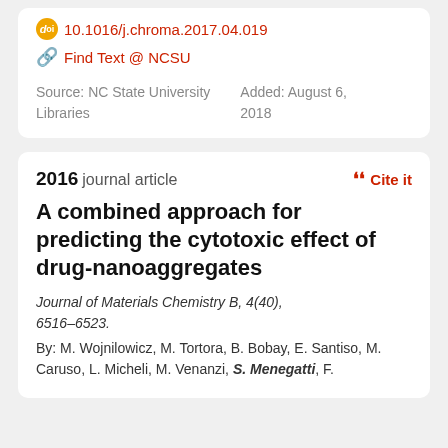10.1016/j.chroma.2017.04.019
Find Text @ NCSU
Source: NC State University Libraries
Added: August 6, 2018
2016 journal article
Cite it
A combined approach for predicting the cytotoxic effect of drug-nanoaggregates
Journal of Materials Chemistry B, 4(40), 6516–6523.
By: M. Wojnilowicz, M. Tortora, B. Bobay, E. Santiso, M. Caruso, L. Micheli, M. Venanzi, S. Menegatti, F.